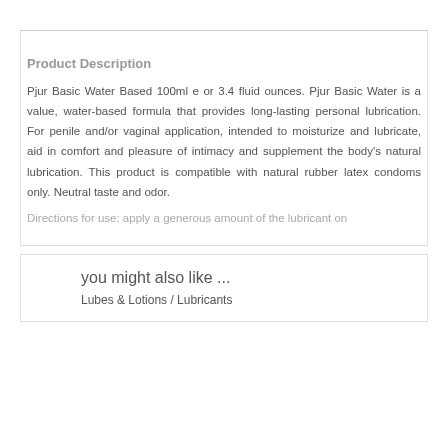Product Description
Pjur Basic Water Based 100ml e or 3.4 fluid ounces. Pjur Basic Water is a value, water-based formula that provides long-lasting personal lubrication. For penile and/or vaginal application, intended to moisturize and lubricate, aid in comfort and pleasure of intimacy and supplement the body's natural lubrication. This product is compatible with natural rubber latex condoms only. Neutral taste and odor.
Directions for use...
you might also like ...
Lubes & Lotions / Lubricants